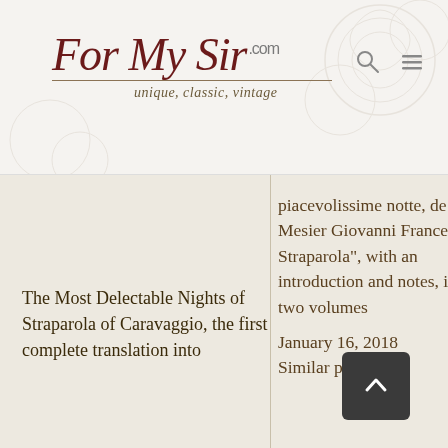For My Sir .com unique, classic, vintage
piacevolissime notte, de Mesier Giovanni Francesco Straparola”, with an introduction and notes, in two volumes
January 16, 2018
Similar post
The Most Delectable Nights of Straparola of Caravaggio, the first complete translation into